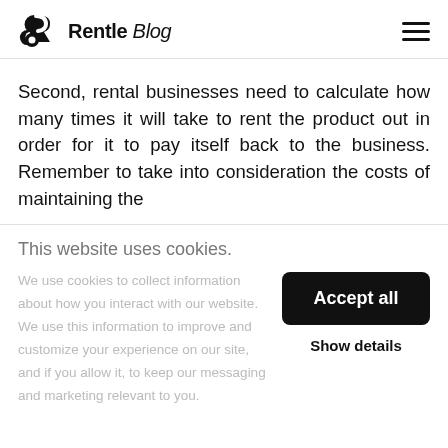Rentle Blog
Second, rental businesses need to calculate how many times it will take to rent the product out in order for it to pay itself back to the business. Remember to take into consideration the costs of maintaining the
This website uses cookies.
We use cookies to collect information about how you interact with our website. We use this information to improve and customize your experience on our site, and if you allow it, to keep our messaging and marketing relevant to you.
Accept all
Show details